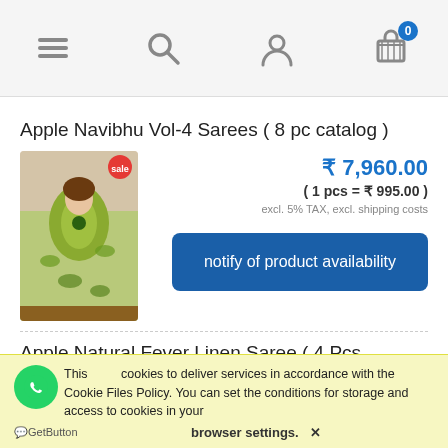Navigation header with menu, search, user, and cart icons
Apple Navibhu Vol-4 Sarees ( 8 pc catalog )
[Figure (photo): Product photo of a woman wearing a green saree with peacock print, with a red sale badge]
₹ 7,960.00
( 1 pcs = ₹ 995.00 )
excl. 5% TAX, excl. shipping costs
notify of product availability
Apple Natural Fever Linen Saree ( 4 Pcs Catalog )
This uses cookies to deliver services in accordance with the Cookie Files Policy. You can set the conditions for storage and access to cookies in your browser settings. ✕